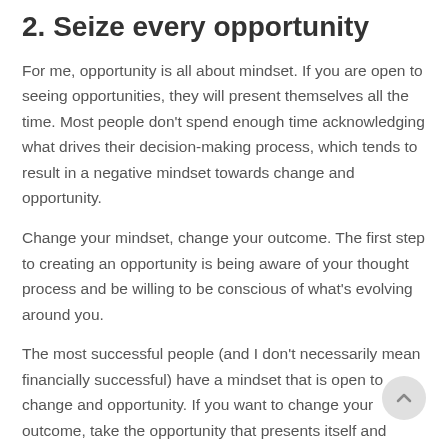2. Seize every opportunity
For me, opportunity is all about mindset. If you are open to seeing opportunities, they will present themselves all the time. Most people don't spend enough time acknowledging what drives their decision-making process, which tends to result in a negative mindset towards change and opportunity.
Change your mindset, change your outcome. The first step to creating an opportunity is being aware of your thought process and be willing to be conscious of what's evolving around you.
The most successful people (and I don't necessarily mean financially successful) have a mindset that is open to change and opportunity. If you want to change your outcome, take the opportunity that presents itself and explore where it could take you.
Each week I spend time with my team on transformational